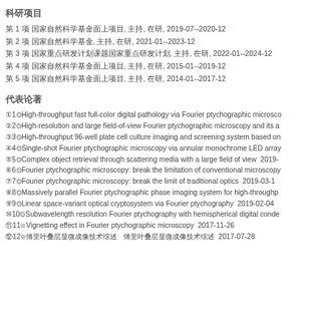科研项目
第 1 项 国家自然科学基金面上项目, 主持, 在研, 2019-07--2020-12
第 2 项 国家自然科学基金, 主持, 在研, 2021-01--2023-12
第 3 项 国家重点研发计划课题国家重点研发计划, 主持, 在研, 2022-01--2024-12
第 4 项 国家自然科学基金面上项目, 主持, 在研, 2015-01--2019-12
第 5 项 国家自然科学基金面上项目, 主持, 在研, 2014-01--2017-12
代表论著
①1⊙High-throughput fast full-color digital pathology via Fourier ptychographic microsco
②2⊙High-resolution and large field-of-view Fourier ptychographic microscopy and its a
③3⊙High-throughput 96-well plate cell culture imaging and screening system based on
④4⊙Single-shot Fourier ptychographic microscopy via annular monochrome LED array
⑤5⊙Complex object retrieval through scattering media with a large field of view  2019-
⑥6⊙Fourier ptychographic microscopy: break the limitation of conventional microscopy
⑦7⊙Fourier ptychographic microscopy: break the limit of traditional optics  2019-03-1
⑧8⊙Massively parallel Fourier ptychographic phase imaging system for high-throughp
⑨9⊙Linear space-variant optical cryptosystem via Fourier ptychography  2019-02-04
⑩10⊙Subwavelength resolution Fourier ptychography with hemispherical digital conde
⑪11⊙Vignetting effect in Fourier ptychographic microscopy  2017-11-26
⑫12⊙傅里叶叠层显微成像技术综述   傅里叶叠层显微成像技术综述  2017-07-28